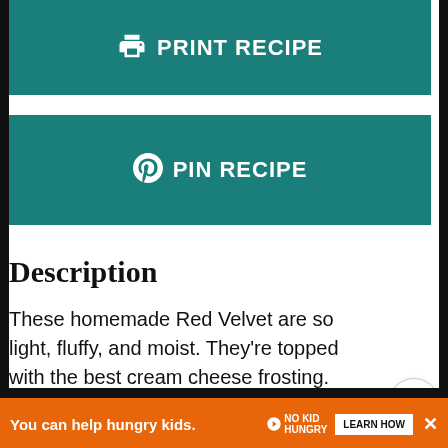[Figure (other): Print Recipe button - teal background with printer icon and text PRINT RECIPE in white]
[Figure (other): Pin Recipe button - teal background with Pinterest icon and text PIN RECIPE in white]
Description
These homemade Red Velvet are so light, fluffy, and moist. They’re topped with the best cream cheese frosting.
[Figure (other): Heart/like button (teal circle) with count 14.1K and share button below]
[Figure (photo): Photo of a person, partially visible at bottom of page]
[Figure (other): WHAT'S NEXT widget showing Hot Chocolate Whipped...]
[Figure (other): Ad banner: You can help hungry kids. No Kid Hungry. LEARN HOW]